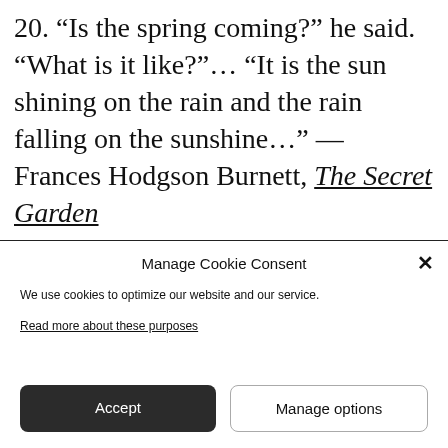20. “Is the spring coming?” he said. “What is it like?”… “It is the sun shining on the rain and the rain falling on the sunshine…” — Frances Hodgson Burnett, The Secret Garden
[Figure (photo): A golden-toned photograph of what appears to be grass or wheat in sunlight, partially obscured by the cookie consent dialog.]
Manage Cookie Consent
We use cookies to optimize our website and our service.
Read more about these purposes
Accept
Manage options